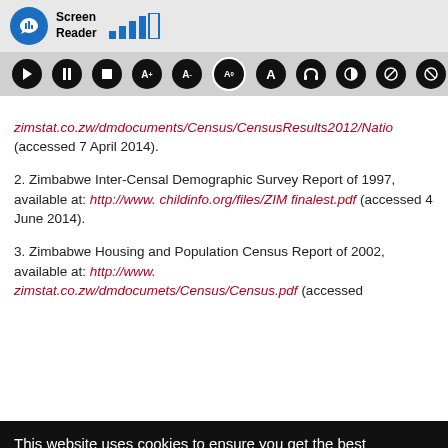[Figure (screenshot): Screen Reader toolbar with icon, signal bars, and accessibility control buttons]
zimstat.co.zw/dmdocuments/Census/CensusResults2012/Natio (accessed 7 April 2014).
2. Zimbabwe Inter-Censal Demographic Survey Report of 1997, available at: http://www. childinfo.org/files/ZIM finalest.pdf (accessed 4 June 2014).
3. Zimbabwe Housing and Population Census Report of 2002, available at: http://www. zimstat.co.zw/dmdocumets/Census/Census.pdf (accessed
This website uses cookies to ensure you get the best experience on our website. Cookie policy Privacy policy
Got it!